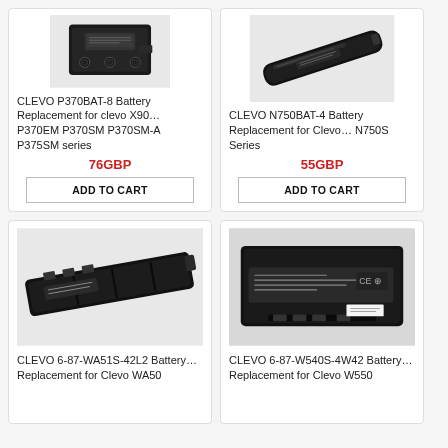[Figure (photo): CLEVO P370BAT-8 laptop battery, black rectangular battery pack viewed from back]
CLEVO P370BAT-8 Battery Replacement for clevo X90… P370EM P370SM P370SM-A P375SM series
76GBP
ADD TO CART
[Figure (photo): CLEVO N750BAT-4 laptop battery, slim black elongated battery stick]
CLEVO N750BAT-4 Battery Replacement for Clevo… N750S Series
55GBP
ADD TO CART
[Figure (photo): CLEVO 6-87-WA51S-42L2 laptop battery, black slim battery pack diagonal view]
CLEVO 6-87-WA51S-42L2 Battery… Replacement for Clevo WA50
[Figure (photo): CLEVO 6-87-W540S-4W42 laptop battery, black battery pack with model label visible]
CLEVO 6-87-W540S-4W42 Battery… Replacement for Clevo W550